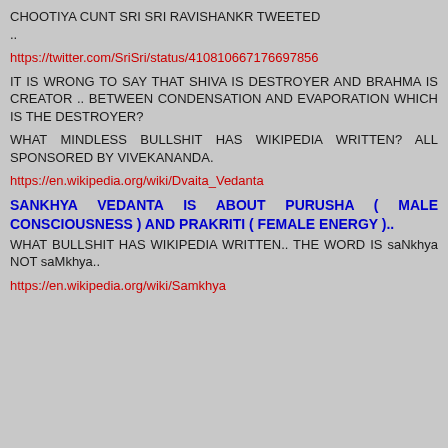CHOOTIYA CUNT SRI SRI RAVISHANKR TWEETED ..
https://twitter.com/SriSri/status/410810667176697856
IT IS WRONG TO SAY THAT SHIVA IS DESTROYER AND BRAHMA IS CREATOR .. BETWEEN CONDENSATION AND EVAPORATION WHICH IS THE DESTROYER?
WHAT MINDLESS BULLSHIT HAS WIKIPEDIA WRITTEN? ALL SPONSORED BY VIVEKANANDA.
https://en.wikipedia.org/wiki/Dvaita_Vedanta
SANKHYA VEDANTA IS ABOUT PURUSHA ( MALE CONSCIOUSNESS ) AND PRAKRITI ( FEMALE ENERGY )..
WHAT BULLSHIT HAS WIKIPEDIA WRITTEN.. THE WORD IS saNkhya NOT saMkhya..
https://en.wikipedia.org/wiki/Samkhya